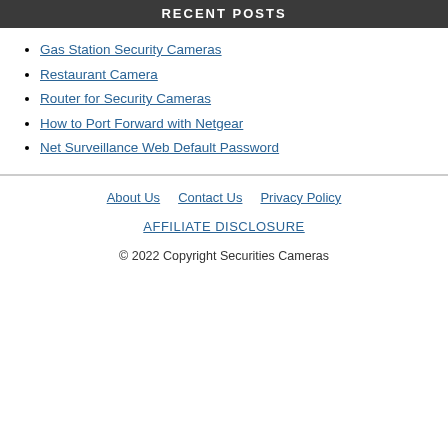RECENT POSTS
Gas Station Security Cameras
Restaurant Camera
Router for Security Cameras
How to Port Forward with Netgear
Net Surveillance Web Default Password
About Us  Contact Us  Privacy Policy  AFFILIATE DISCLOSURE  © 2022 Copyright Securities Cameras